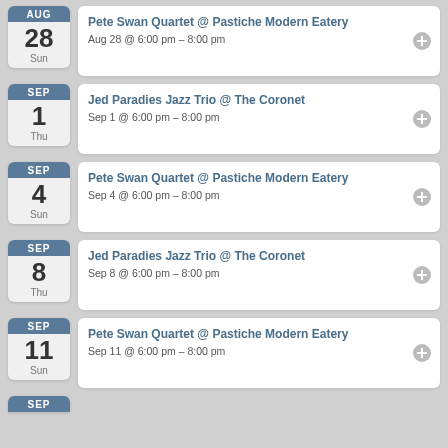Pete Swan Quartet @ Pastiche Modern Eatery
Aug 28 @ 6:00 pm – 8:00 pm
Jed Paradies Jazz Trio @ The Coronet
Sep 1 @ 6:00 pm – 8:00 pm
Pete Swan Quartet @ Pastiche Modern Eatery
Sep 4 @ 6:00 pm – 8:00 pm
Jed Paradies Jazz Trio @ The Coronet
Sep 8 @ 6:00 pm – 8:00 pm
Pete Swan Quartet @ Pastiche Modern Eatery
Sep 11 @ 6:00 pm – 8:00 pm